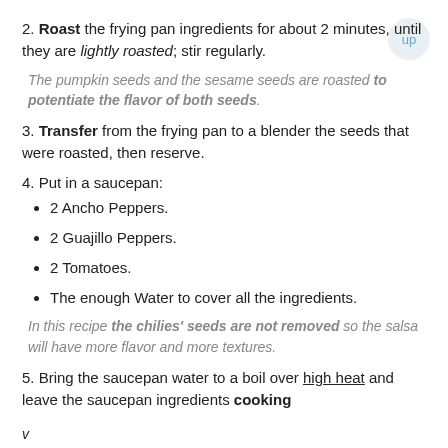2. Roast the frying pan ingredients for about 2 minutes, until they are lightly roasted; stir regularly.
The pumpkin seeds and the sesame seeds are roasted to potentiate the flavor of both seeds.
3. Transfer from the frying pan to a blender the seeds that were roasted, then reserve.
4. Put in a saucepan:
2 Ancho Peppers.
2 Guajillo Peppers.
2 Tomatoes.
The enough Water to cover all the ingredients.
In this recipe the chilies' seeds are not removed so the salsa will have more flavor and more textures.
5. Bring the saucepan water to a boil over high heat and leave the saucepan ingredients cooking
v